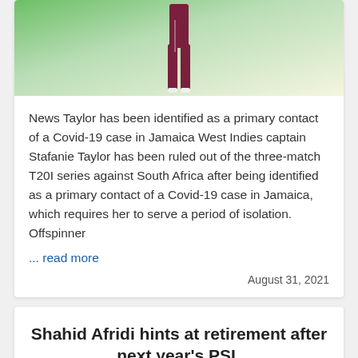[Figure (photo): Cricket player in maroon uniform standing on a green field, partial view showing legs and torso.]
News Taylor has been identified as a primary contact of a Covid-19 case in Jamaica West Indies captain Stafanie Taylor has been ruled out of the three-match T20I series against South Africa after being identified as a primary contact of a Covid-19 case in Jamaica, which requires her to serve a period of isolation. Offspinner
... read more
August 31, 2021
Shahid Afridi hints at retirement after next year's PSL